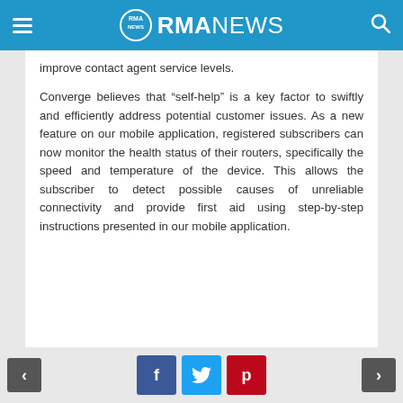RMA NEWS
improve contact agent service levels.

Converge believes that “self-help” is a key factor to swiftly and efficiently address potential customer issues. As a new feature on our mobile application, registered subscribers can now monitor the health status of their routers, specifically the speed and temperature of the device. This allows the subscriber to detect possible causes of unreliable connectivity and provide first aid using step-by-step instructions presented in our mobile application.